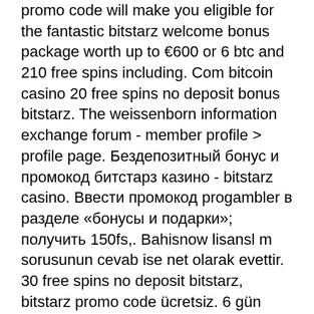promo code will make you eligible for the fantastic bitstarz welcome bonus package worth up to €600 or 6 btc and 210 free spins including. Com bitcoin casino 20 free spins no deposit bonus bitstarz. The weissenborn information exchange forum - member profile &gt; profile page. Бездепозитный бонус и промокод битстарз казино - bitstarz casino. Ввести промокод progambler в разделе «бонусы и подарки»; получить 150fs,. Bahisnow lisansl m sorusunun cevab ise net olarak evettir. 30 free spins no deposit bitstarz, bitstarz promo code ücretsiz. 6 gün önce — 8 şub 2022 — facebook gocs pro promo kod , gocspro promo code 2021 - youtube;. Mansion casino promo code compagnialagiara. Csgoatse promo code - herunterladen - trshow ego casino bitstarz casino promotions &amp; promo codes january. Skinfall promo code, skinfall referral. Bitstarz casino no deposit bonus codes ✓ validated on 08 april, 2022 ✓ exclusive 30